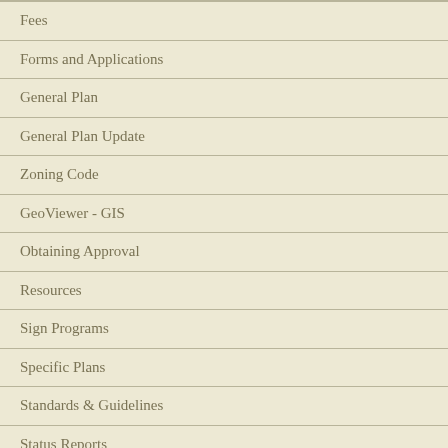Fees
Forms and Applications
General Plan
General Plan Update
Zoning Code
GeoViewer - GIS
Obtaining Approval
Resources
Sign Programs
Specific Plans
Standards & Guidelines
Status Reports
Zoning Map